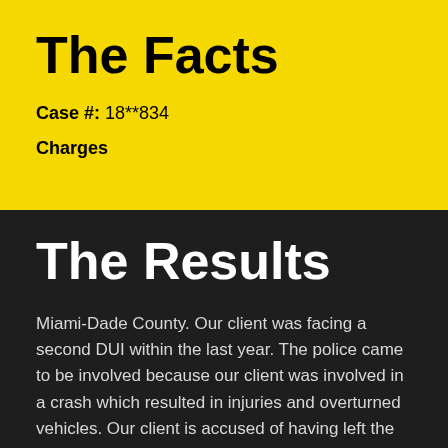The Facts
Case #: 18**834
Charges
The Results
Miami-Dade County. Our client was facing a second DUI within the last year. The police came to be involved because our client was involved in a crash which resulted in injuries and overturned vehicles. Our client is accused of having left the scene of the accident on foot and was found by police approximately 300 feet away walking "rapidly". Upon interaction with our client, police advised...